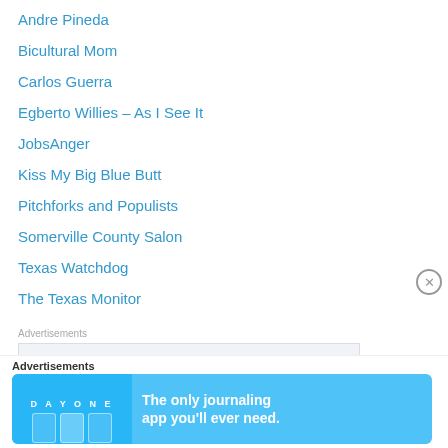Andre Pineda
Bicultural Mom
Carlos Guerra
Egberto Willies – As I See It
JobsAnger
Kiss My Big Blue Butt
Pitchforks and Populists
Somerville County Salon
Texas Watchdog
The Texas Monitor
Advertisements
[Figure (screenshot): Advertisement banner: 'Build a writing habit. Post on...' in serif font on light background]
Advertisements
[Figure (screenshot): DayOne app advertisement: 'The only journaling app you'll ever need.' on blue background with app icons]